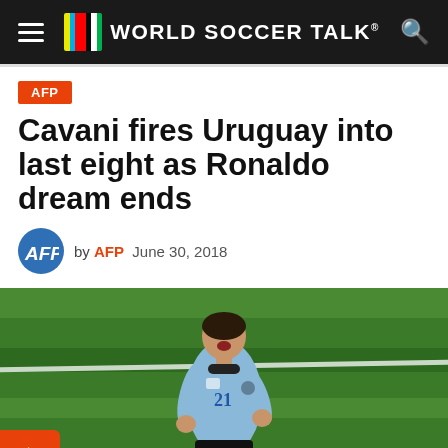WORLD SOCCER TALK
AFP
Cavani fires Uruguay into last eight as Ronaldo dream ends
by AFP  June 30, 2018
[Figure (photo): Soccer player wearing Uruguay light blue jersey number 21 (Cavani) celebrating with fist clenched and mouth open, on a green grass field]